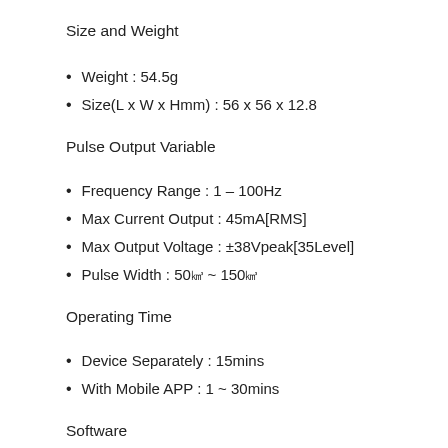Size and Weight
Weight : 54.5g
Size(L x W x Hmm) : 56 x 56 x 12.8
Pulse Output Variable
Frequency Range : 1 – 100Hz
Max Current Output : 45mA[RMS]
Max Output Voltage : ±38Vpeak[35Level]
Pulse Width : 50μs ~ 150μs
Operating Time
Device Separately : 15mins
With Mobile APP : 1 ~ 30mins
Software